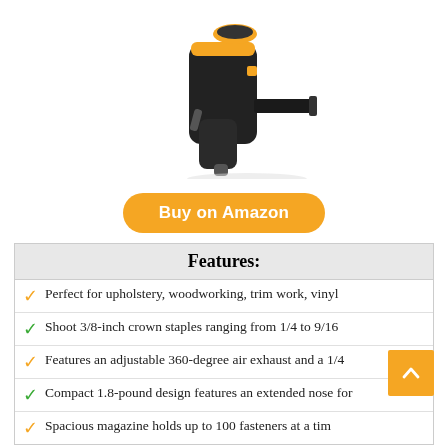[Figure (photo): A black and orange pneumatic staple gun / nail gun tool on white background]
Buy on Amazon
Features:
Perfect for upholstery, woodworking, trim work, vinyl
Shoot 3/8-inch crown staples ranging from 1/4 to 9/16
Features an adjustable 360-degree air exhaust and a 1/4
Compact 1.8-pound design features an extended nose for
Spacious magazine holds up to 100 fasteners at a tim
7. FPC (SUREBONDER) 9600B 9600A PNEUMATIC HEAVY DUTY STANDARD T50